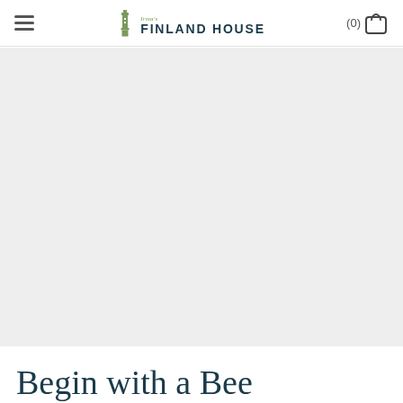Irma's FINLAND HOUSE (0) [cart]
[Figure (photo): Large light grey hero image area, appears to be a blank/loading product image placeholder]
Begin with a Bee